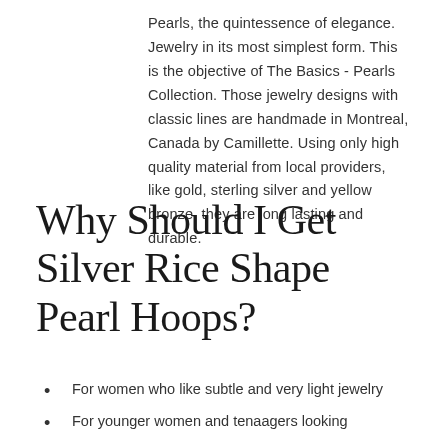Pearls, the quintessence of elegance. Jewelry in its most simplest form. This is the objective of The Basics - Pearls Collection. Those jewelry designs with classic lines are handmade in Montreal, Canada by Camillette. Using only high quality material from local providers, like gold, sterling silver and yellow bronze, they are long lasting and durable.
Why Should I Get Silver Rice Shape Pearl Hoops?
For women who like subtle and very light jewelry
For younger women and tenaagers looking